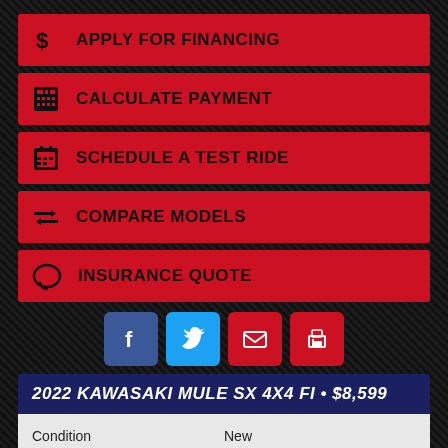APPLY FOR FINANCING
CALCULATE PAYMENT
SCHEDULE A TEST RIDE
COMPARE MODELS
INSURANCE QUOTE
[Figure (other): Social share buttons: Facebook, Twitter, Email, Print]
2022 KAWASAKI MULE SX 4X4 FI • $8,599
| Condition | New |